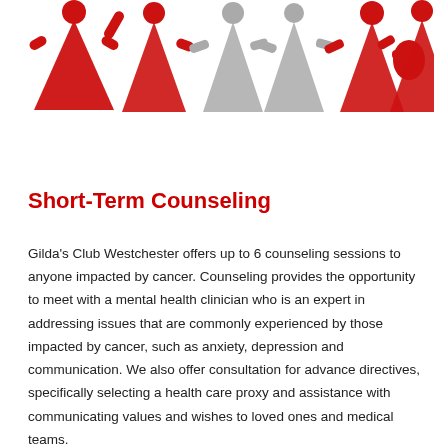[Figure (illustration): Stylized human figures in red and gray, representing people/community, arranged in a row across the top of the page - Gilda's Club logo imagery]
Short-Term Counseling
Gilda's Club Westchester offers up to 6 counseling sessions to anyone impacted by cancer. Counseling provides the opportunity to meet with a mental health clinician who is an expert in addressing issues that are commonly experienced by those impacted by cancer, such as anxiety, depression and communication. We also offer consultation for advance directives, specifically selecting a health care proxy and assistance with communicating values and wishes to loved ones and medical teams.